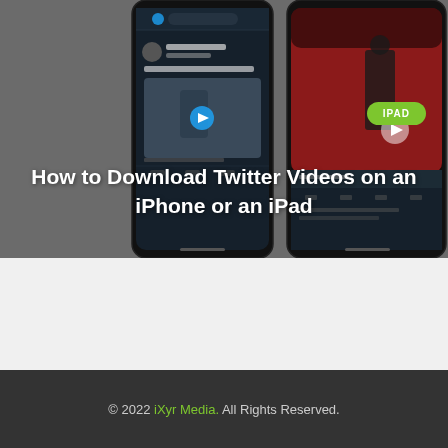[Figure (screenshot): Two smartphones showing Twitter app with a video tweet from Ben Chapman saying 'Keep your eye on the ball.' with a video play button. The right phone shows a video of a person on a red stage. A green 'IPAD' badge appears in the top-right area. Text 'NEXT POST' appears in the top right corner.]
How to Download Twitter Videos on an iPhone or an iPad
© 2022 iXyr Media. All Rights Reserved.